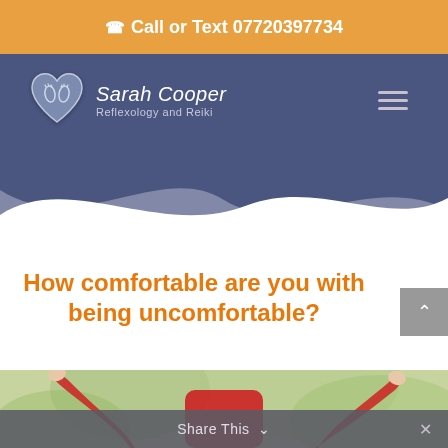Call or Text 07720397734
[Figure (logo): Sarah Cooper Reflexology and Reiki logo with heart icon containing foot outlines]
How comfortable are you with being uncomfortable?
[Figure (photo): Person with arms raised up against a blurred green outdoor background, wearing a red top]
Share This